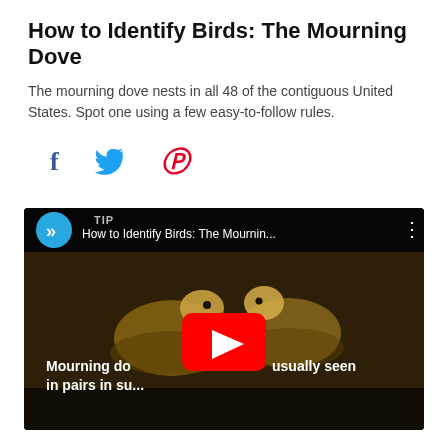How to Identify Birds: The Mourning Dove
The mourning dove nests in all 48 of the contiguous United States. Spot one using a few easy-to-follow rules.
[Figure (other): Social media share icons: Facebook (f), Twitter (bird), Pinterest (p)]
[Figure (screenshot): Embedded video thumbnail showing two mourning doves perched together with YouTube play button overlay. Video title reads 'How to Identify Birds: The Mournin...' with caption 'Mourning do...usually seen in pairs in su...' and a TIP badge in the top bar.]